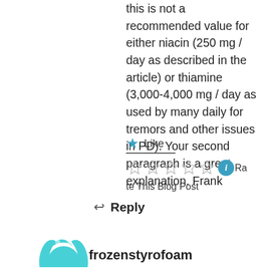this is not a recommended value for either niacin (250 mg / day as described in the article) or thiamine (3,000-4,000 mg / day as used by many daily for tremors and other issues in PD). Your second paragraph is a great explanation. Frank
★ Like
[Figure (other): Five empty star rating icons followed by a teal info button icon, with text 'Rate This Blog Post']
↩ Reply
Pingback: Addendum: Low-Dose Niacin Improves Motor Function in Parkinson's – Journey with Parkinson's
frozenstyrofoam